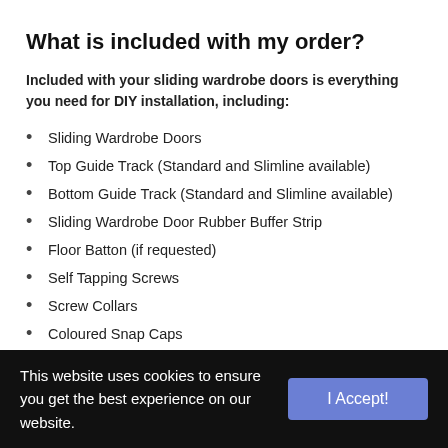What is included with my order?
Included with your sliding wardrobe doors is everything you need for DIY installation, including:
Sliding Wardrobe Doors
Top Guide Track (Standard and Slimline available)
Bottom Guide Track (Standard and Slimline available)
Sliding Wardrobe Door Rubber Buffer Strip
Floor Batton (if requested)
Self Tapping Screws
Screw Collars
Coloured Snap Caps
WHATS NOT INCLUDED?
This website uses cookies to ensure you get the best experience on our website.